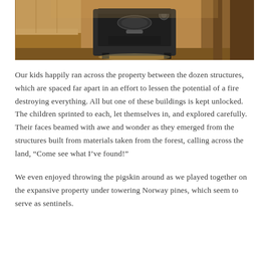[Figure (photo): Interior photo of a rustic wooden cabin or structure showing an old cast-iron wood-burning stove in the center, with wooden walls and a wooden bench or table to the left. The image is in color showing warm wood tones and the dark metal stove.]
Our kids happily ran across the property between the dozen structures, which are spaced far apart in an effort to lessen the potential of a fire destroying everything. All but one of these buildings is kept unlocked. The children sprinted to each, let themselves in, and explored carefully. Their faces beamed with awe and wonder as they emerged from the structures built from materials taken from the forest, calling across the land, “Come see what I’ve found!”
We even enjoyed throwing the pigskin around as we played together on the expansive property under towering Norway pines, which seem to serve as sentinels.